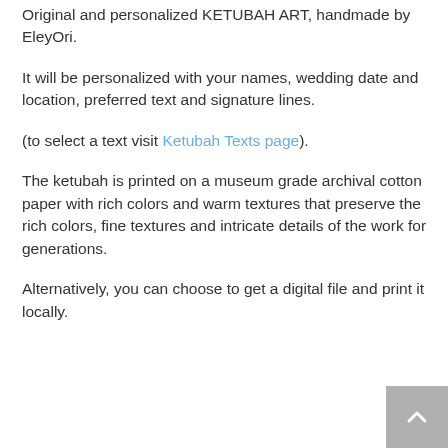Original and personalized KETUBAH ART, handmade by EleyOri.
It will be personalized with your names, wedding date and location, preferred text and signature lines.
(to select a text visit Ketubah Texts page).
The ketubah is printed on a museum grade archival cotton paper with rich colors and warm textures that preserve the rich colors, fine textures and intricate details of the work for generations.
Alternatively, you can choose to get a digital file and print it locally.